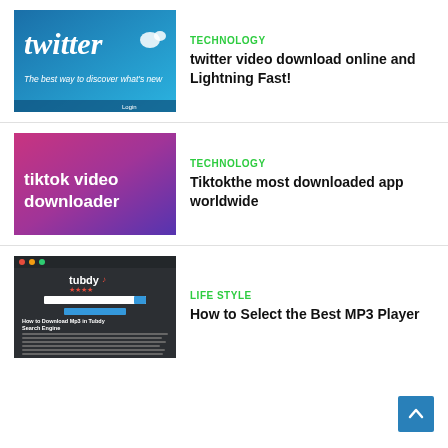[Figure (photo): Twitter app screenshot showing the Twitter logo and tagline 'The best way to discover what's new']
TECHNOLOGY
twitter video download online and Lightning Fast!
[Figure (illustration): TikTok video downloader promotional image with gradient pink-purple background and white text 'tiktok video downloader']
TECHNOLOGY
Tiktokthe most downloaded app worldwide
[Figure (screenshot): Screenshot of Tubdy website showing 'How to Download Mp3 in Tubdy Search Engine' article]
LIFE STYLE
How to Select the Best MP3 Player